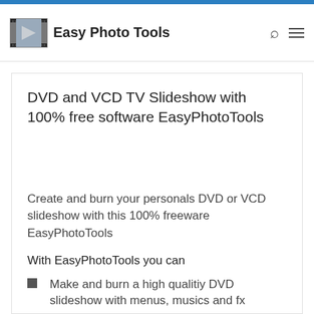Easy Photo Tools
DVD and VCD TV Slideshow with 100% free software EasyPhotoTools
Create and burn your personals DVD or VCD slideshow with this 100% freeware EasyPhotoTools
With EasyPhotoTools you can
Make and burn a high qualitiy DVD
slideshow with menus, musics and fx